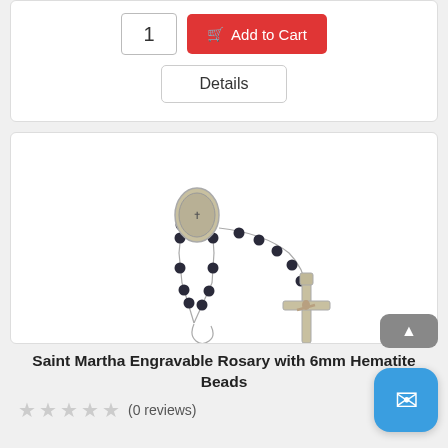[Figure (screenshot): Quantity input box showing '1' and red Add to Cart button with cart icon, plus a Details button below]
[Figure (photo): Saint Martha Engravable Rosary with 6mm Hematite Beads product image showing silver rosary with dark hematite beads and crucifix]
Saint Martha Engravable Rosary with 6mm Hematite Beads
(0 reviews)